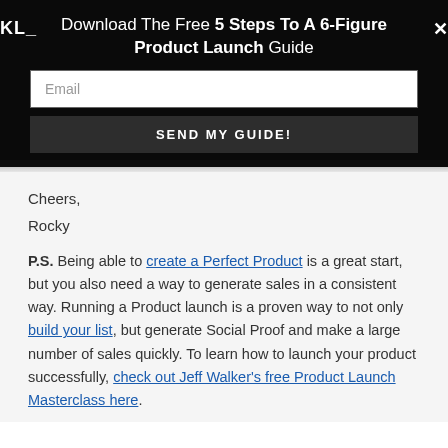Download The Free 5 Steps To A 6-Figure Product Launch Guide
Email
SEND MY GUIDE!
Cheers,
Rocky
P.S. Being able to create a Perfect Product is a great start, but you also need a way to generate sales in a consistent way. Running a Product launch is a proven way to not only build your list, but generate Social Proof and make a large number of sales quickly. To learn how to launch your product successfully, check out Jeff Walker's free Product Launch Masterclass here.